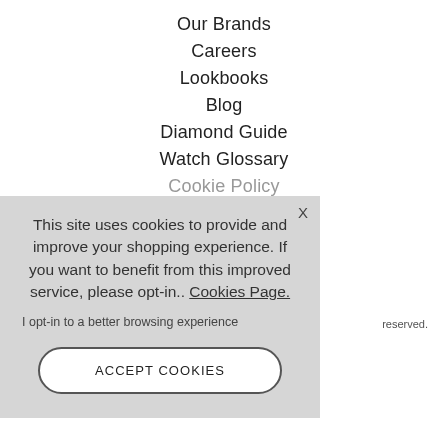Our Brands
Careers
Lookbooks
Blog
Diamond Guide
Watch Glossary
Cookie Policy
reserved.
This site uses cookies to provide and improve your shopping experience. If you want to benefit from this improved service, please opt-in.. Cookies Page. I opt-in to a better browsing experience
ACCEPT COOKIES